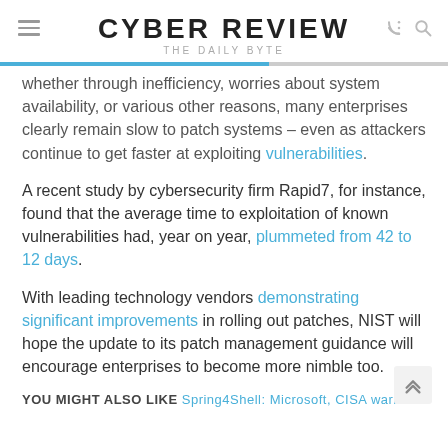CYBER REVIEW
THE DAILY BYTE
whether through inefficiency, worries about system availability, or various other reasons, many enterprises clearly remain slow to patch systems – even as attackers continue to get faster at exploiting vulnerabilities.
A recent study by cybersecurity firm Rapid7, for instance, found that the average time to exploitation of known vulnerabilities had, year on year, plummeted from 42 to 12 days.
With leading technology vendors demonstrating significant improvements in rolling out patches, NIST will hope the update to its patch management guidance will encourage enterprises to become more nimble too.
YOU MIGHT ALSO LIKE Spring4Shell: Microsoft, CISA warn